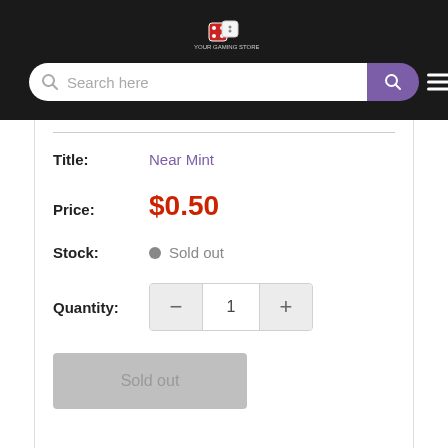[Figure (logo): Red and white dice/game store logo with text beneath on black background]
Search here
Title: Near Mint
Price: $0.50
Stock: Sold out
Quantity: 1
Sold out